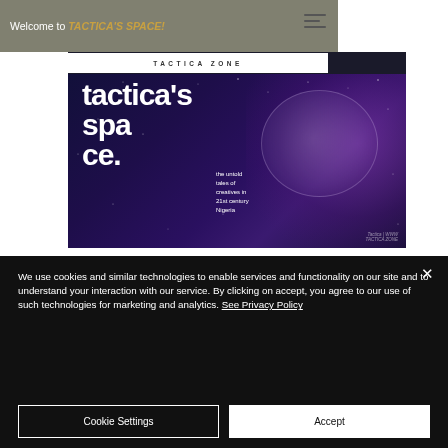Welcome to TACTICA'S SPACE!
[Figure (screenshot): Tactica's Space promotional banner image showing space-themed dark blue/purple background with bold white text reading 'tactica's space.' and subtitle 'the untold tales of creatives in 21st century Nigeria', with a moon circle and floating figures on the right.]
We use cookies and similar technologies to enable services and functionality on our site and to understand your interaction with our service. By clicking on accept, you agree to our use of such technologies for marketing and analytics. See Privacy Policy
Cookie Settings
Accept